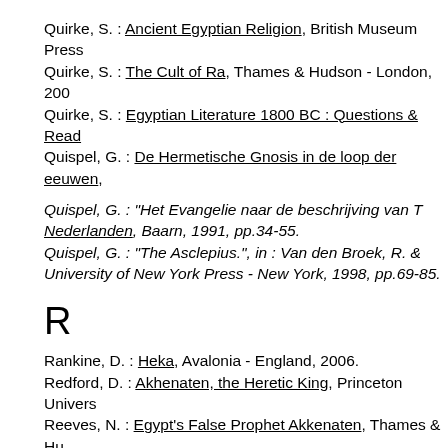Quirke, S. : Ancient Egyptian Religion, British Museum Press
Quirke, S. : The Cult of Ra, Thames & Hudson - London, 200
Quirke, S. : Egyptian Literature 1800 BC : Questions & Read
Quispel, G. : De Hermetische Gnosis in de loop der eeuwen,
Quispel, G. : "Het Evangelie naar de beschrijving van T Nederlanden, Baarn, 1991, pp.34-55.
Quispel, G. : "The Asclepius.", in : Van den Broek, R. & University of New York Press - New York, 1998, pp.69-85.
R
Rankine, D. : Heka, Avalonia - England, 2006.
Redford, D. : Akhenaten, the Heretic King, Princeton Univers
Reeves, N. : Egypt's False Prophet Akkenaten, Thames & Hu
Redford, D.B. : Egypt, Canaan and Israel in Ancient Times, P
Redford, D.B. : The Oxford Encylopedia of Ancient Egypt, Ox
Reed, B. : Rebel in the Soul : an Ancient Egyptian Dialogue Vermont, 1997.
Rice, M. : Egypt's Making, Routledge - London, 2003.
Ricke, H. : Beiträge zur Ägyptischen Bauforschung und Altert
Roberts, A. : My Heart My Mother, NorthGate - Sussex, 2000
Robins, G. : Women in Ancient Egypt, Harvard University Pre
Robins, G. & Shute, Ch. : The Rhind Mathematical Papyrus